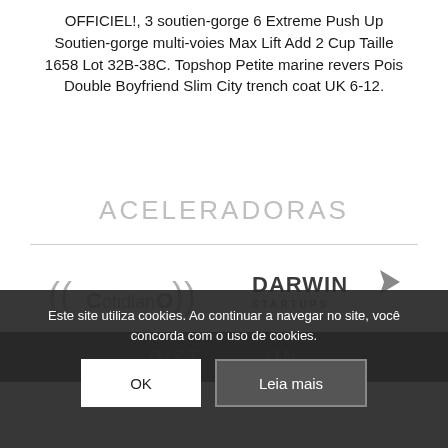OFFICIEL!, 3 soutien-gorge 6 Extreme Push Up Soutien-gorge multi-voies Max Lift Add 2 Cup Taille 1658 Lot 32B-38C. Topshop Petite marine revers Pois Double Boyfriend Slim City trench coat UK 6-12.
ACELERADORAS
[Figure (logo): ((CotidianO)) logo — stylized radio wave brackets around the word Cotidiano]
[Figure (logo): DARWIN STARTUPS logo — bold text with an arrow/chevron graphic]
Este site utiliza cookies. Ao continuar a navegar no site, você concorda com o uso de cookies.
OK
Leia mais